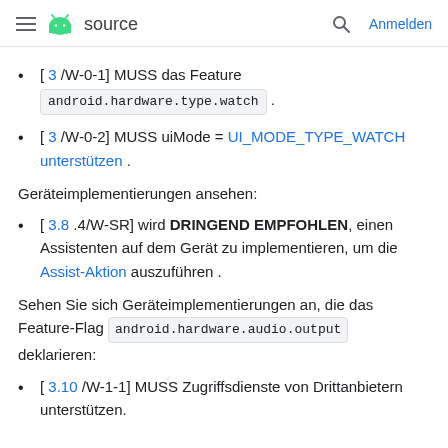source   Anmelden
[ 3 /W-0-1] MUSS das Feature android.hardware.type.watch .
[ 3 /W-0-2] MUSS uiMode = UI_MODE_TYPE_WATCH unterstützen .
Geräteimplementierungen ansehen:
[ 3.8 .4/W-SR] wird DRINGEND EMPFOHLEN, einen Assistenten auf dem Gerät zu implementieren, um die Assist-Aktion auszuführen .
Sehen Sie sich Geräteimplementierungen an, die das Feature-Flag android.hardware.audio.output deklarieren:
[ 3.10 /W-1-1] MUSS Zugriffsdienste von Drittanbietern unterstützen.